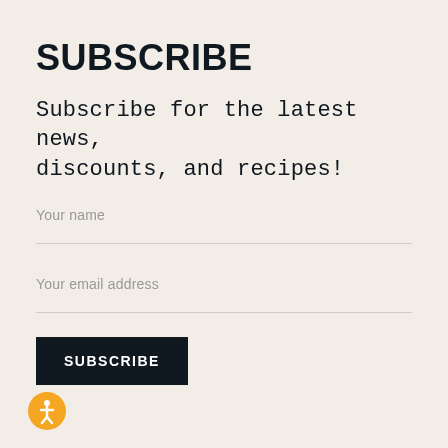SUBSCRIBE
Subscribe for the latest news, discounts, and recipes!
Your name
Your email address
SUBSCRIBE
[Figure (illustration): Orange accessibility icon (person in circle) at bottom left]